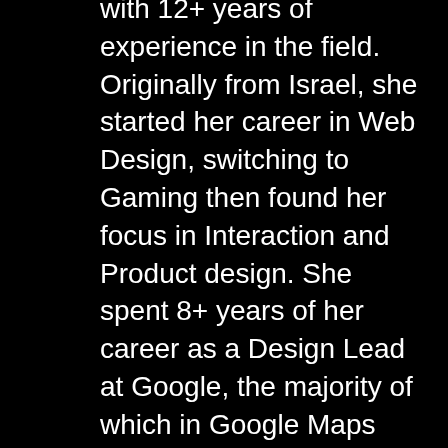with 12+ years of experience in the field. Originally from Israel, she started her career in Web Design, switching to Gaming then found her focus in Interaction and Product design. She spent 8+ years of her career as a Design Lead at Google, the majority of which in Google Maps where she led design for Driving and Street View Experiences. She was also the Design Lead for Cardboard Camera, named one of “2015 Best Apps” by Mashable. Her passion lies in where technology and design meet to improve people’s lives and